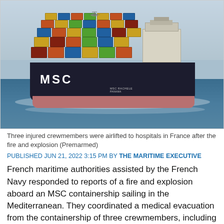[Figure (photo): MSC containership viewed from the stern at sea in the Mediterranean, loaded with colorful shipping containers stacked high. A helicopter is visible in the sky above. The ship's name MSC RACHELE is visible on the hull. The sea is a deep blue-grey color.]
Three injured crewmembers were airlifted to hospitals in France after the fire and explosion (Premarmed)
PUBLISHED JUN 21, 2022 3:15 PM BY THE MARITIME EXECUTIVE
French maritime authorities assisted by the French Navy responded to reports of a fire and explosion aboard an MSC containership sailing in the Mediterranean. They coordinated a medical evacuation from the containership of three crewmembers, including two who are reported to be in serious condition.
Reports of the incident were received at the regional SAR